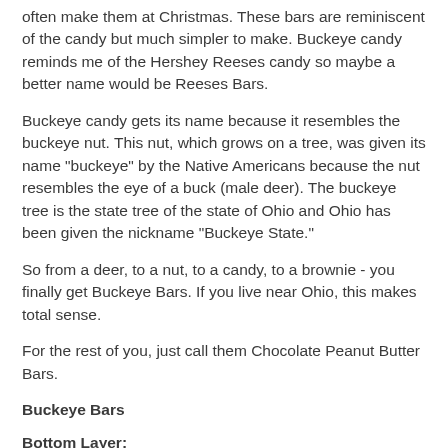often make them at Christmas. These bars are reminiscent of the candy but much simpler to make. Buckeye candy reminds me of the Hershey Reeses candy so maybe a better name would be Reeses Bars.
Buckeye candy gets its name because it resembles the buckeye nut. This nut, which grows on a tree, was given its name "buckeye" by the Native Americans because the nut resembles the eye of a buck (male deer). The buckeye tree is the state tree of the state of Ohio and Ohio has been given the nickname "Buckeye State."
So from a deer, to a nut, to a candy, to a brownie - you finally get Buckeye Bars. If you live near Ohio, this makes total sense.
For the rest of you, just call them Chocolate Peanut Butter Bars.
Buckeye Bars
Bottom Layer: